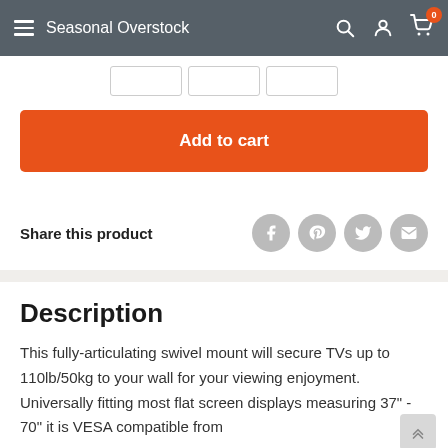Seasonal Overstock
[Figure (screenshot): Tab/option selector row with three outlined boxes]
Add to cart
Share this product
Description
This fully-articulating swivel mount will secure TVs up to 110lb/50kg to your wall for your viewing enjoyment. Universally fitting most flat screen displays measuring 37" - 70" it is VESA compatible from